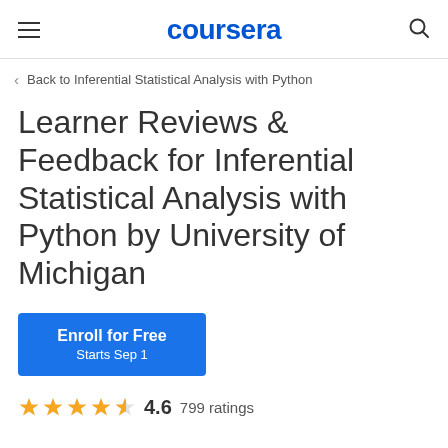coursera
Back to Inferential Statistical Analysis with Python
Learner Reviews & Feedback for Inferential Statistical Analysis with Python by University of Michigan
Enroll for Free
Starts Sep 1
4.6  799 ratings